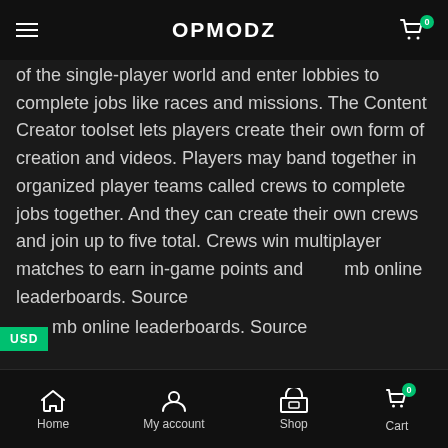OPMODZ
of the single-player world and enter lobbies to complete jobs like races and missions. The Content Creator toolset lets players create their own form of creation and videos. Players may band together in organized player teams called crews to complete jobs together. And they can create their own crews and join up to five total. Crews win multiplayer matches to earn in-game points and climb online leaderboards. Source
RELATED PRODUCTS
Home  My account  Shop  Cart